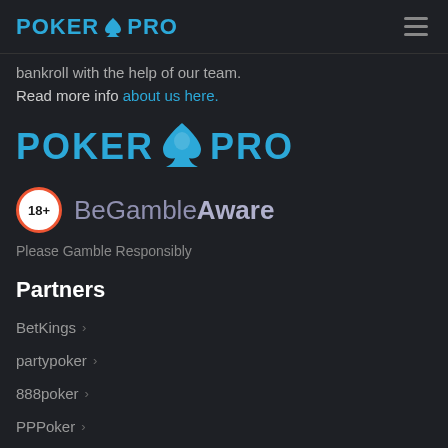POKER PRO [logo]
bankroll with the help of our team. Read more info about us here.
[Figure (logo): Poker Pro logo - large version with spade icon between POKER and PRO text in cyan/blue on dark background]
[Figure (logo): BeGambleAware logo with 18+ badge circle in red/white and BeGambleAware text]
Please Gamble Responsibly
Partners
BetKings >
partypoker >
888poker >
PPPoker >
PokerBros >
PokerKing >